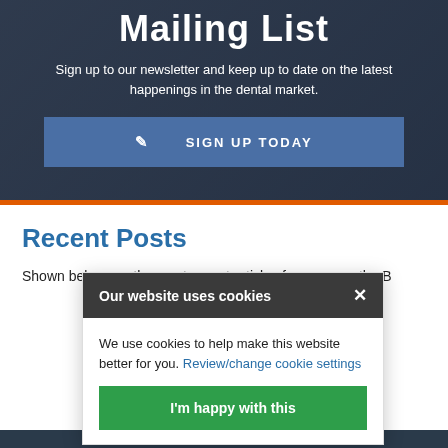Mailing List
Sign up to our newsletter and keep up to date on the latest happenings in the dental market.
✎  SIGN UP TODAY
Recent Posts
Shown below are the most recent articles from across the B...
Our website uses cookies
We use cookies to help make this website better for you. Review/change cookie settings
I'm happy with this